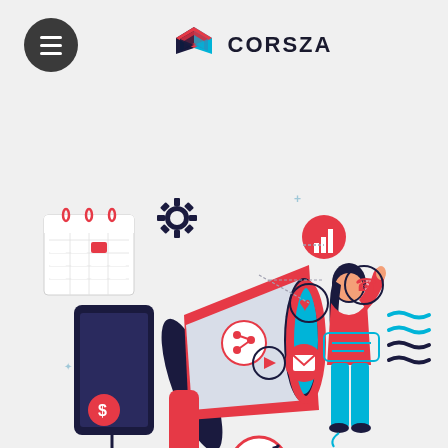[Figure (logo): Corsza logo: geometric cube icon in red, blue and dark colors with text CORSZA]
[Figure (illustration): Digital marketing illustration showing a large megaphone/bullhorn in red and light gray, a smartphone/tablet with target and dollar sign, a calendar, gear icon, and a woman in red top interacting with floating social media icons including share, heart, analytics, phone, email, and message bubbles. Red, navy, and cyan color scheme on light gray background.]